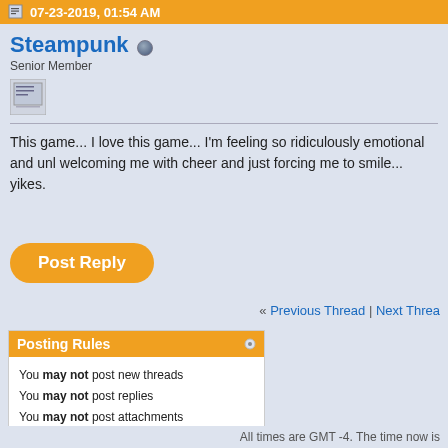07-23-2019, 01:54 AM
Steampunk
Senior Member
This game... I love this game... I'm feeling so ridiculously emotional and unwelcoming me with cheer and just forcing me to smile... yikes.
Post Reply
« Previous Thread | Next Thread
Posting Rules
You may not post new threads
You may not post replies
You may not post attachments
You may not edit your posts
BB code is On
Smilies are On
[IMG] code is On
HTML code is Off
All times are GMT -4. The time now is